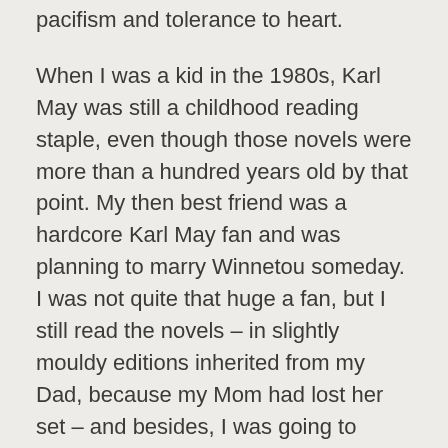pacifism and tolerance to heart.
When I was a kid in the 1980s, Karl May was still a childhood reading staple, even though those novels were more than a hundred years old by that point. My then best friend was a hardcore Karl May fan and was planning to marry Winnetou someday. I was not quite that huge a fan, but I still read the novels – in slightly mouldy editions inherited from my Dad, because my Mom had lost her set – and besides, I was going to marry Old Shatterhand. And then we'd live happily ever after in the American West.
By the time I read Karl May's novels, the face of Winnetou was already irrevocably that of Pierre Brice, the actor who played the character in a series of highly successful film adaptations between 1962 and 1968. The face of Old Shatterhand and Kara Ben